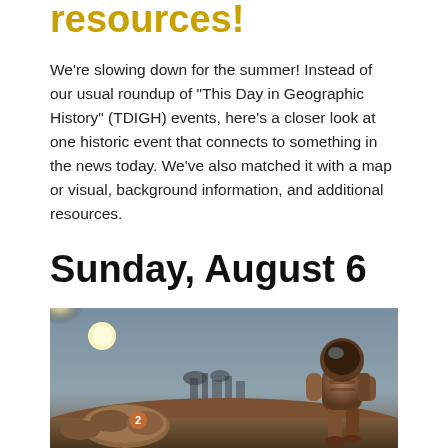resources!
We're slowing down for the summer! Instead of our usual roundup of "This Day in Geographic History" (TDIGH) events, here's a closer look at one historic event that connects to something in the news today. We've also matched it with a map or visual, background information, and additional resources.
Sunday, August 6
[Figure (illustration): An illustrated scene showing an astronaut figure in a spacesuit standing on a reddish-brown Martian surface, with a bright glowing sun/light in the upper left, rocky terrain with numbered markers in the lower left, and industrial or dome structures in the background middle distance. The sky is a grey-blue hue, creating a science fiction atmosphere.]